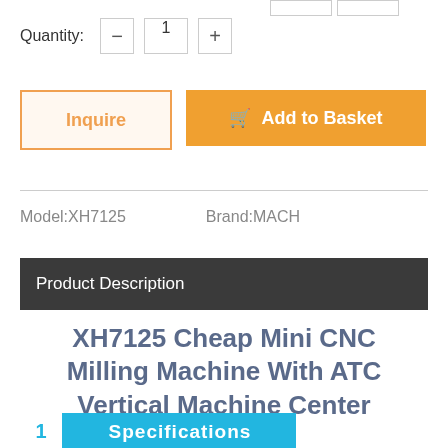Quantity: 1
Inquire
Add to Basket
Model:XH7125   Brand:MACH
Product Description
XH7125 Cheap Mini CNC Milling Machine With ATC Vertical Machine Center
[Figure (screenshot): Bottom partial image showing blue Specifications banner with number badge]